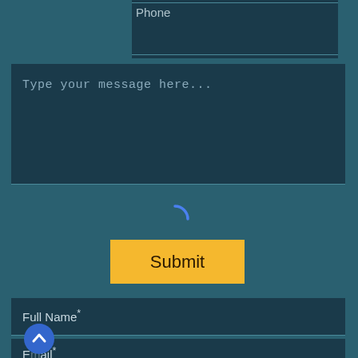[Figure (screenshot): Web contact form UI with teal/dark blue background. Shows Phone field, message textarea with placeholder 'Type your message here...', a loading spinner arc, a yellow Submit button, Full Name field, and Email field. A blue scroll-to-top button is visible at bottom left.]